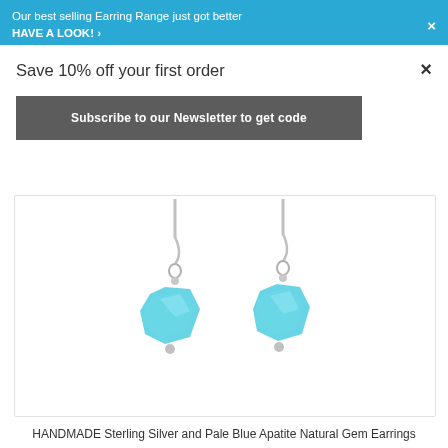Our best selling Earring Range just got better HAVE A LOOK! ›
Save 10% off your first order
Subscribe to our Newsletter to get code
[Figure (photo): Two handmade sterling silver and pale blue apatite natural gem earrings hanging on silver hooks with small silver ball accents, displayed against a white background.]
HANDMADE Sterling Silver and Pale Blue Apatite Natural Gem Earrings (Shapes Vary) (E558)E)
£20.00